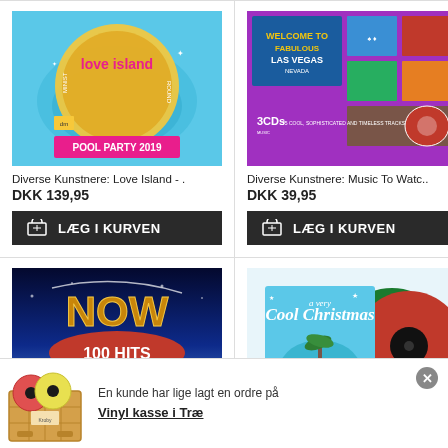[Figure (photo): Love Island Pool Party 2019 CD album cover with pool/water background]
Diverse Kunstnere: Love Island - .
DKK 139,95
[Figure (other): LÆG I KURVEN (Add to cart) button with basket icon]
[Figure (photo): Music To Watch Girls By - Las Vegas themed 3CDs compilation album cover]
Diverse Kunstnere: Music To Watc..
DKK 39,95
[Figure (other): LÆG I KURVEN (Add to cart) button with basket icon]
[Figure (photo): NOW 100 HITS CHRISTMAS CD compilation album cover with blue/night sky background]
[Figure (photo): A Very Cool Christmas vinyl records (red and green coloured vinyl) album cover]
En kunde har lige lagt en ordre på
Vinyl kasse i Træ